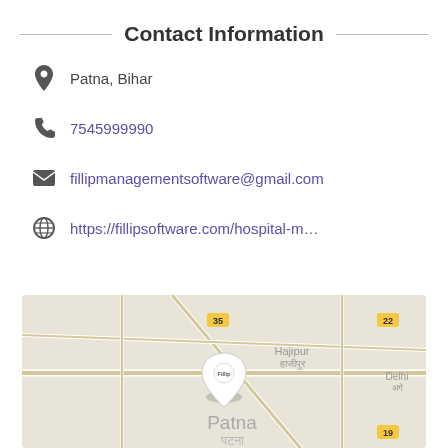Contact Information
Patna, Bihar
7545999990
fillipmanagementsoftware@gmail.com
https://fillipsoftware.com/hospital-m…
[Figure (map): Google Maps embed showing Patna, Bihar location with a white pin marker labeled 'Fillip' near the center of Patna city map.]